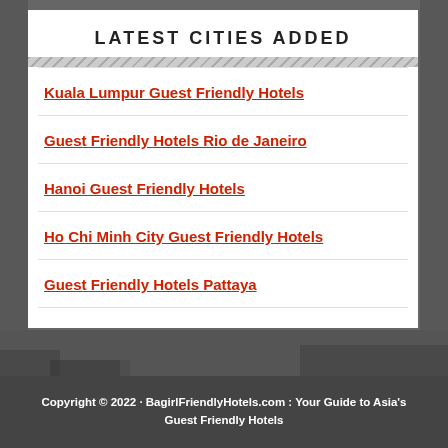LATEST CITIES ADDED
Kuala Lumpur Guest Friendly Hotels
Guest Friendly Hotels Rio de Janeiro
Hanoi Guest Friendly Hotels
Ho Chi Minh City Guest Friendly Hotels
Guest Friendly Hotels Pattaya
Copyright © 2022 · BagirlFriendlyHotels.com : Your Guide to Asia's Guest Friendly Hotels